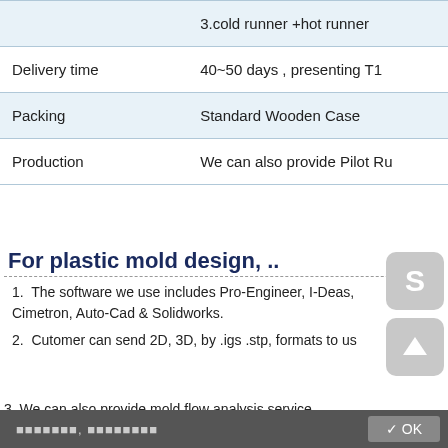|  |  |
| --- | --- |
|  | 3.cold runner +hot runner |
| Delivery time | 40~50 days , presenting T1 |
| Packing | Standard Wooden Case |
| Production | We can also provide Pilot Ru |
For plastic mold design, ..
The software we use includes Pro-Engineer, I-Deas, Cimetron, Auto-Cad & Solidworks.
Cutomer can send 2D, 3D, by .igs .stp, formats to us
We can also provide mold flow analysis service